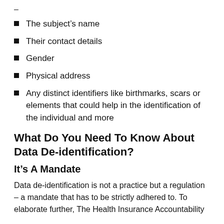–
The subject's name
Their contact details
Gender
Physical address
Any distinct identifiers like birthmarks, scars or elements that could help in the identification of the individual and more
What Do You Need To Know About Data De-identification?
It's A Mandate
Data de-identification is not a practice but a regulation – a mandate that has to be strictly adhered to. To elaborate further, The Health Insurance Accountability